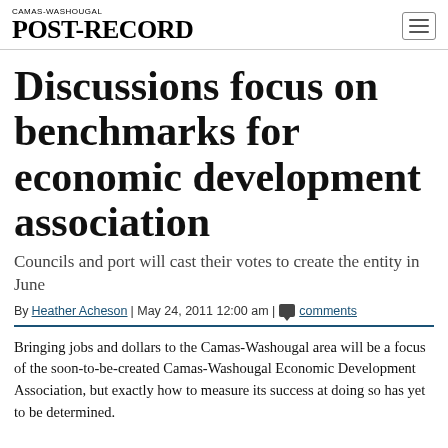CAMAS-WASHOUGAL POST-RECORD
Discussions focus on benchmarks for economic development association
Councils and port will cast their votes to create the entity in June
By Heather Acheson | May 24, 2011 12:00 am | comments
Bringing jobs and dollars to the Camas-Washougal area will be a focus of the soon-to-be-created Camas-Washougal Economic Development Association, but exactly how to measure its success at doing so has yet to be determined.